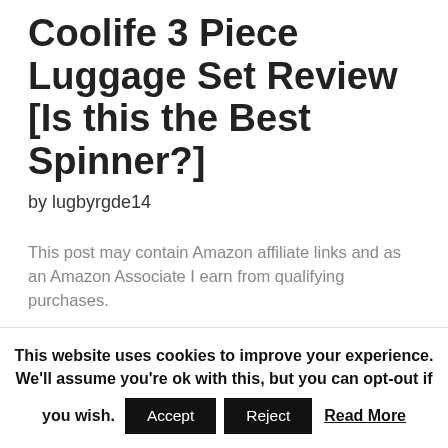Coolife 3 Piece Luggage Set Review [Is this the Best Spinner?]
by lugbyrgde14
This post may contain Amazon affiliate links and as an Amazon Associate I earn from qualifying purchases.
The luggage market has undergone countless changes in the last few years. There's likely more options in the luggage aisle right now than few
This website uses cookies to improve your experience. We'll assume you're ok with this, but you can opt-out if you wish. Accept Reject Read More